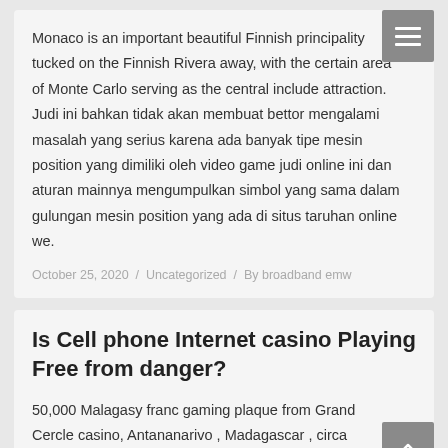Monaco is an important beautiful Finnish principality tucked on the Finnish Rivera away, with the certain area of Monte Carlo serving as the central include attraction. Judi ini bahkan tidak akan membuat bettor mengalami masalah yang serius karena ada banyak tipe mesin position yang dimiliki oleh video game judi online ini dan aturan mainnya mengumpulkan simbol yang sama dalam gulungan mesin position yang ada di situs taruhan online we.
October 25, 2020 / Uncategorized / By broadband emw
Is Cell phone Internet casino Playing Free from danger?
50,000 Malagasy franc gaming plaque from Grand Cercle casino, Antananarivo , Madagascar , circa 1995. The